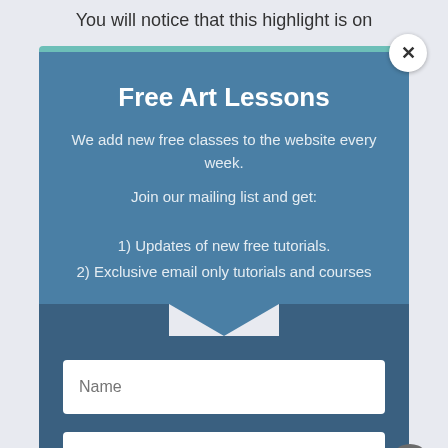You will notice that this highlight is on
Free Art Lessons
We add new free classes to the website every week.
Join our mailing list and get:
1) Updates of new free tutorials.
2) Exclusive email only tutorials and courses
Name
Email